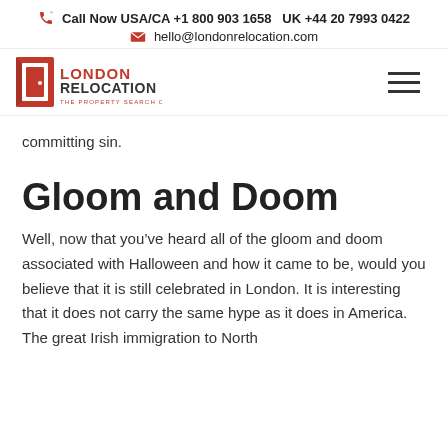Call Now USA/CA +1 800 903 1658   UK +44 20 7993 0422
hello@londonrelocation.com
[Figure (logo): London Relocation logo with red door icon and text 'LONDON RELOCATION THE PROPERTY SEARCH COMPANY']
committing sin.
Gloom and Doom
Well, now that you’ve heard all of the gloom and doom associated with Halloween and how it came to be, would you believe that it is still celebrated in London. It is interesting that it does not carry the same hype as it does in America. The great Irish immigration to North